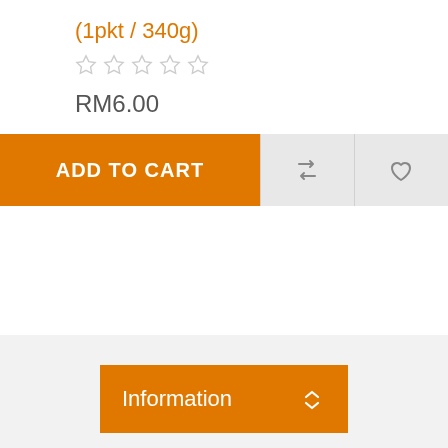(1pkt / 340g)
[Figure (other): Five empty star rating icons]
RM6.00
[Figure (other): Add to cart button with repeat and heart icons]
Information